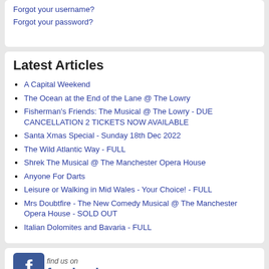Forgot your username?
Forgot your password?
Latest Articles
A Capital Weekend
The Ocean at the End of the Lane @ The Lowry
Fisherman's Friends: The Musical @ The Lowry - DUE CANCELLATION 2 TICKETS NOW AVAILABLE
Santa Xmas Special - Sunday 18th Dec 2022
The Wild Atlantic Way - FULL
Shrek The Musical @ The Manchester Opera House
Anyone For Darts
Leisure or Walking in Mid Wales - Your Choice! - FULL
Mrs Doubtfire - The New Comedy Musical @ The Manchester Opera House - SOLD OUT
Italian Dolomites and Bavaria - FULL
[Figure (logo): Find us on Facebook logo]
login not required